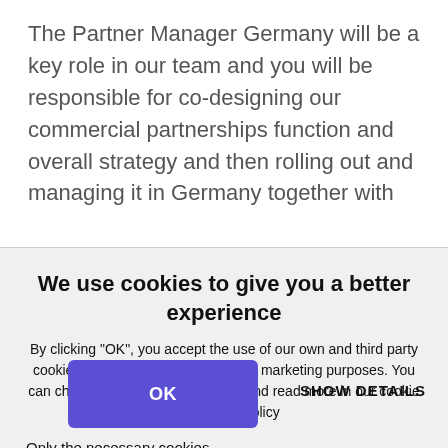The Partner Manager Germany will be a key role in our team and you will be responsible for co-designing our commercial partnerships function and overall strategy and then rolling out and managing it in Germany together with
We use cookies to give you a better experience
By clicking "OK", you accept the use of our own and third party cookies for statistical, functional and marketing purposes. You can change your consent any time and read more in our cookie and privacy policy
Only the necessary cookies
OK
SHOW DETAILS